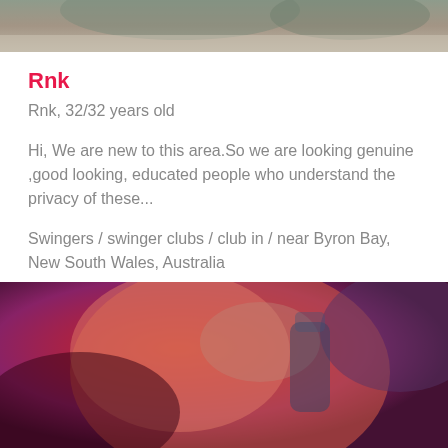[Figure (photo): Top portion of a profile photo, partially cropped, showing an outdoor scene]
Rnk
Rnk, 32/32 years old
Hi, We are new to this area.So we are looking genuine ,good looking, educated people who understand the privacy of these...
Swingers / swinger clubs / club in / near Byron Bay, New South Wales, Australia
[Figure (photo): Close-up selfie photo of a person with reddish warm lighting, holding something near their face]